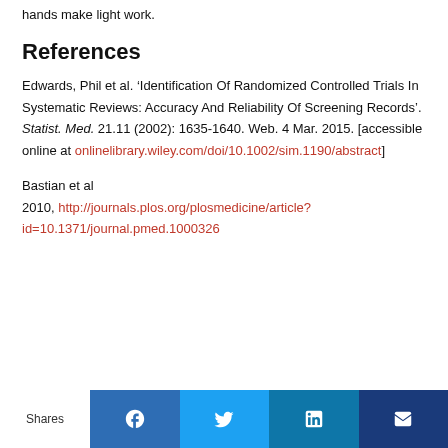hands make light work.
References
Edwards, Phil et al. ‘Identification Of Randomized Controlled Trials In Systematic Reviews: Accuracy And Reliability Of Screening Records’. Statist. Med. 21.11 (2002): 1635-1640. Web. 4 Mar. 2015. [accessible online at onlinelibrary.wiley.com/doi/10.1002/sim.1190/abstract]
Bastian et al 2010, http://journals.plos.org/plosmedicine/article?id=10.1371/journal.pmed.1000326